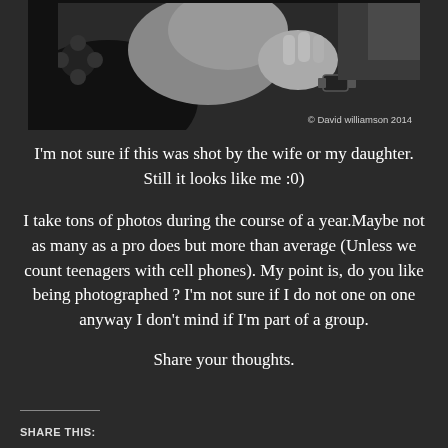[Figure (photo): Black and white photograph of a person with hand raised near their face, wearing a watch and a dark shirt with a floral/geometric pattern. Watermark reads '© David williamson 2014' in the lower right corner.]
I'm not sure if this was shot by the wife or my daughter. Still it looks like me :0)
I take tons of photos during the course of a year. Maybe not as many as a pro does but more than average (Unless we count teenagers with cell phones). My point is, do you like being photographed ? I'm not sure if I do not one on one anyway I don't mind if I'm part of a group.
Share your thoughts.
SHARE THIS: